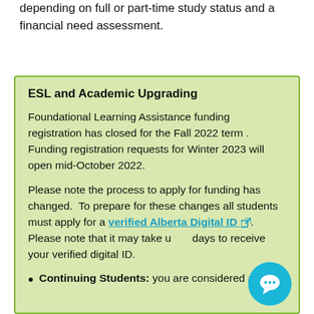depending on full or part-time study status and a financial need assessment.
ESL and Academic Upgrading
Foundational Learning Assistance funding registration has closed for the Fall 2022 term . Funding registration requests for Winter 2023 will open mid-October 2022.
Please note the process to apply for funding has changed.  To prepare for these changes all students must apply for a verified Alberta Digital ID. Please note that it may take up to days to receive your verified digital ID.
Continuing Students: you are considered a